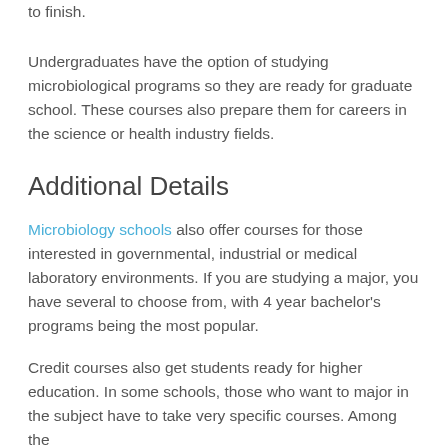to finish.
Undergraduates have the option of studying microbiological programs so they are ready for graduate school. These courses also prepare them for careers in the science or health industry fields.
Additional Details
Microbiology schools also offer courses for those interested in governmental, industrial or medical laboratory environments. If you are studying a major, you have several to choose from, with 4 year bachelor's programs being the most popular.
Credit courses also get students ready for higher education. In some schools, those who want to major in the subject have to take very specific courses. Among the